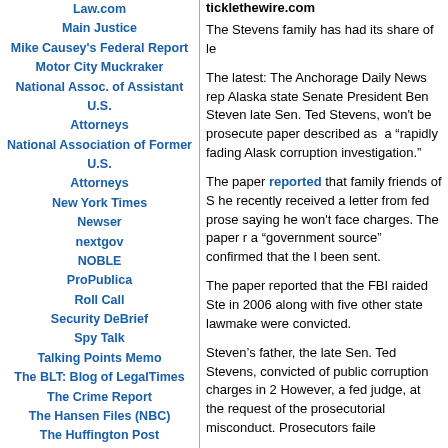Law.com
Main Justice
Mike Causey's Federal Report
Motor City Muckraker
National Assoc. of Assistant U.S. Attorneys
National Association of Former U.S. Attorneys
New York Times
Newser
nextgov
NOBLE
ProPublica
Roll Call
Security DeBrief
Spy Talk
Talking Points Memo
The BLT: Blog of LegalTimes
The Crime Report
The Hansen Files (NBC)
The Huffington Post
The Isikoff Files
The Prime-Time Crime Review
The Rap Sheet (Crime Fiction)
ticklethewire.com
The Stevens family has had its share of le...
The latest: The Anchorage Daily News rep... Alaska state Senate President Ben Steven... late Sen. Ted Stevens, won't be prosecute... paper described as  a “rapidly fading Alask... corruption investigation.”
The paper reported that family friends of S... he recently received a letter from fed prose... saying he won't face charges. The paper r... a “government source” confirmed that the l... been sent.
The paper reported that the FBI raided Ste... in 2006 along with five other state lawmake... were convicted.
Steven’s father, the late Sen. Ted Stevens,... convicted of public corruption charges in 2... However, a fed judge, at the request of the... prosecutorial misconduct. Prosecutors faile...